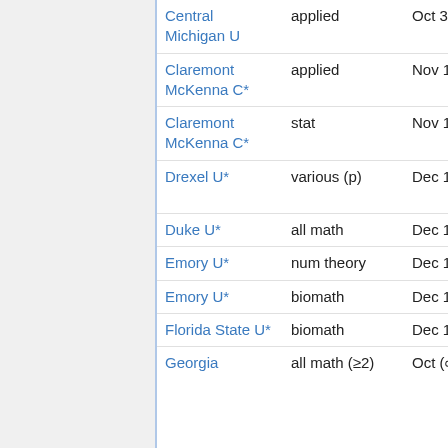| Institution | Field | Deadline | Contact |
| --- | --- | --- | --- |
| Central Michigan U | applied | Oct 31 |  |
| Claremont McKenna C* | applied | Nov 1 |  |
| Claremont McKenna C* | stat | Nov 1 |  |
| Drexel U* | various (p) | Dec 1 | Christopher Sinclair, Xiaofeng Yang |
| Duke U* | all math | Dec 1 | Margaret Beck |
| Emory U* | num theory | Dec 1 (∞) |  |
| Emory U* | biomath | Dec 1 |  |
| Florida State U* | biomath | Dec 15 | frozen |
| Georgia | all math (≥2) | Oct (∞) | Noureddine |